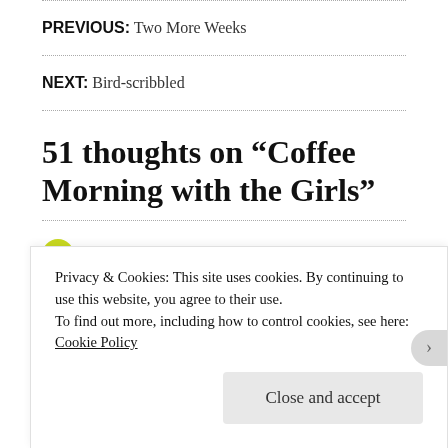PREVIOUS: Two More Weeks
NEXT: Bird-scribbled
51 thoughts on “Coffee Morning with the Girls”
Privacy & Cookies: This site uses cookies. By continuing to use this website, you agree to their use. To find out more, including how to control cookies, see here: Cookie Policy
Close and accept